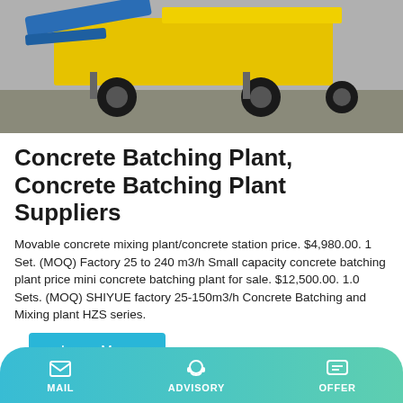[Figure (photo): Photo of a yellow and blue concrete batching plant/mobile mixer on wheels, outdoors on concrete ground]
Concrete Batching Plant, Concrete Batching Plant Suppliers
Movable concrete mixing plant/concrete station price. $4,980.00. 1 Set. (MOQ) Factory 25 to 240 m3/h Small capacity concrete batching plant price mini concrete batching plant for sale. $12,500.00. 1.0 Sets. (MOQ) SHIYUE factory 25-150m3/h Concrete Batching and Mixing plant HZS series.
[Figure (photo): Photo of blue and beige cylindrical silos/cement storage tanks with red flags on top, against a light sky background]
MAIL  ADVISORY  OFFER